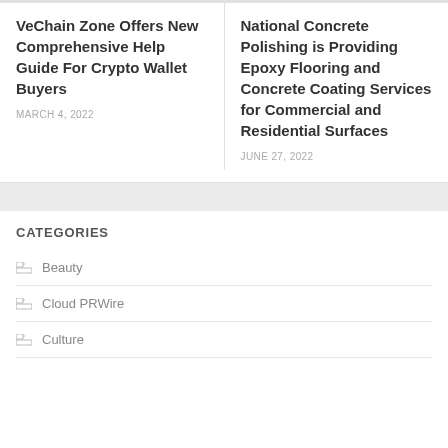VeChain Zone Offers New Comprehensive Help Guide For Crypto Wallet Buyers
MARCH 4, 2022
National Concrete Polishing is Providing Epoxy Flooring and Concrete Coating Services for Commercial and Residential Surfaces
JUNE 27, 2022
CATEGORIES
Beauty
Cloud PRWire
Culture